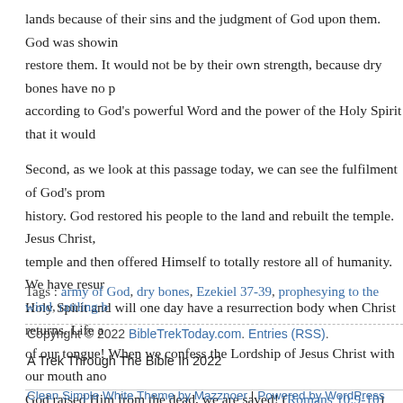lands because of their sins and the judgment of God upon them. God was showing how he would restore them. It would not be by their own strength, because dry bones have no power. It was according to God's powerful Word and the power of the Holy Spirit that it would happen.
Second, as we look at this passage today, we can see the fulfilment of God's promises throughout history. God restored his people to the land and rebuilt the temple. Jesus Christ, came to the temple and then offered Himself to totally restore all of humanity. We have resurrection life of the Holy Spirit and will one day have a resurrection body when Christ returns. Life and death are matters of our tongue! When we confess the Lordship of Jesus Christ with our mouth and believe in our hearts that God raised Him from the dead, we are saved! (Romans 10:9-10) Confess again your faith and see how your words bring you into resurrection life! What an awesome God we serve!
Tags : army of God, dry bones, Ezekiel 37-39, prophesying to the wind, rattling b...
Copyright © 2022 BibleTrekToday.com. Entries (RSS). A Trek Through The Bible In 2022
Clean Simple White Theme by Mazznoer | Powered by WordPress